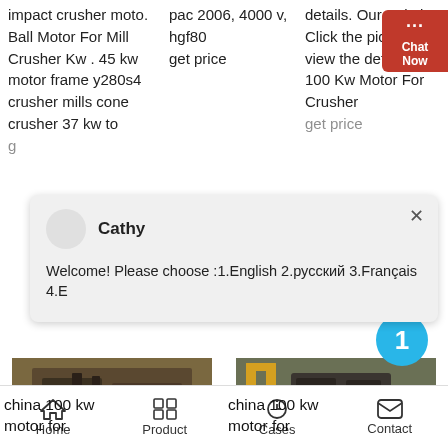impact crusher moto. Ball Motor For Mill Crusher Kw . 45 kw motor frame y280s4 crusher mills cone crusher 37 kw to g
pac 2006, 4000 v, hgf80 get price
details. Our Solutions Click the picture to view the details China 100 Kw Motor For Crusher get price
[Figure (screenshot): Chat Now button (red) on right edge]
[Figure (screenshot): Chat popup overlay with avatar, name Cathy, welcome message: Welcome! Please choose :1.English 2.русский 3.Français 4.E]
[Figure (photo): china 100 kw motor for - crusher machinery image left]
[Figure (photo): china 100 kw motor for - crusher machinery image right]
china 100 kw motor for
china 100 kw motor for
Home  Product  Cases  Contact